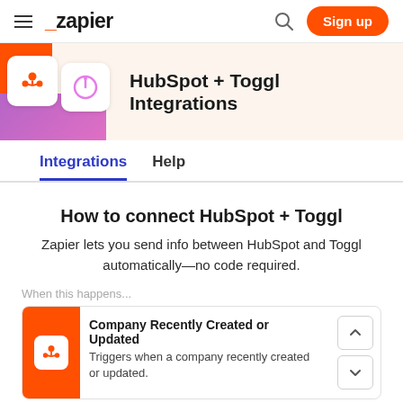Zapier – Sign up
[Figure (screenshot): HubSpot + Toggl Integrations page header with logos]
HubSpot + Toggl Integrations
Integrations  Help
How to connect HubSpot + Toggl
Zapier lets you send info between HubSpot and Toggl automatically—no code required.
When this happens...
Company Recently Created or Updated
Triggers when a company recently created or updated.